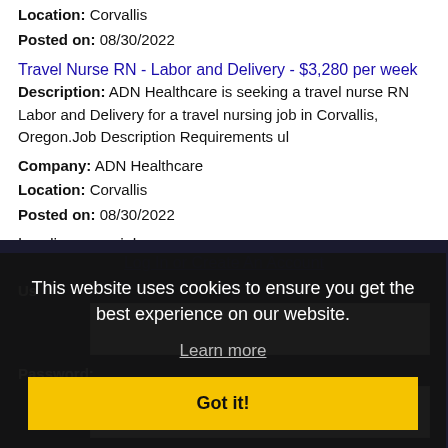Location: Corvallis
Posted on: 08/30/2022
Travel Nurse RN - Labor and Delivery - $3,280 per week
Description: ADN Healthcare is seeking a travel nurse RN Labor and Delivery for a travel nursing job in Corvallis, Oregon.Job Description Requirements ul
Company: ADN Healthcare
Location: Corvallis
Posted on: 08/30/2022
Loading more jobs...
Log In or Create An Account
This website uses cookies to ensure you get the best experience on our website.
Learn more
Got it!
Password:
Log In